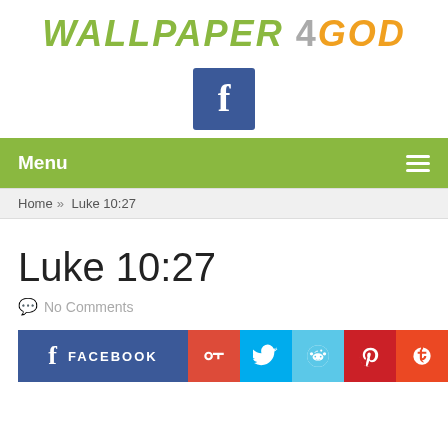WALLPAPER 4 GOD
[Figure (logo): Facebook icon: blue square with white 'f' letter]
Menu
Home » Luke 10:27
Luke 10:27
No Comments
FACEBOOK   g+   Twitter   Reddit   Pinterest   StumbleUpon   Email